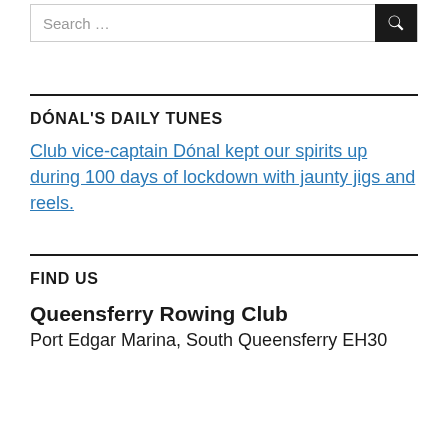Search …
DÓNAL'S DAILY TUNES
Club vice-captain Dónal kept our spirits up during 100 days of lockdown with jaunty jigs and reels.
FIND US
Queensferry Rowing Club
Port Edgar Marina, South Queensferry EH30